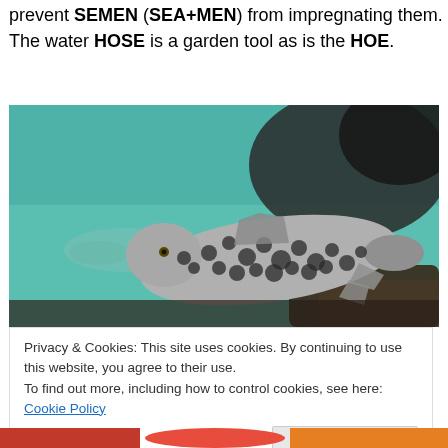prevent SEMEN (SEA+MEN) from impregnating them. The water HOSE is a garden tool as is the HOE.
[Figure (photo): Underwater photo of a spotted/patterned fish (pleco or similar bottom-dwelling fish) against a teal/green aquarium background with rocks]
Privacy & Cookies: This site uses cookies. By continuing to use this website, you agree to their use.
To find out more, including how to control cookies, see here: Cookie Policy
[Figure (photo): Bottom strip showing partial colorful images, partially visible]